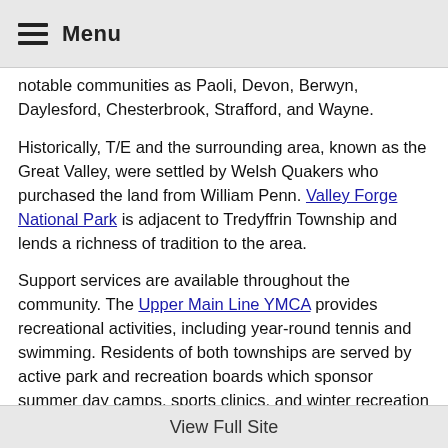Menu
notable communities as Paoli, Devon, Berwyn, Daylesford, Chesterbrook, Strafford, and Wayne.
Historically, T/E and the surrounding area, known as the Great Valley, were settled by Welsh Quakers who purchased the land from William Penn. Valley Forge National Park is adjacent to Tredyffrin Township and lends a richness of tradition to the area.
Support services are available throughout the community. The Upper Main Line YMCA provides recreational activities, including year-round tennis and swimming. Residents of both townships are served by active park and recreation boards which sponsor summer day camps, sports clinics, and winter recreation programs. Local community parks offer playgrounds, basketball courts, tennis courts, and baseball fields. The Tredyffrin Library, the Easttown
View Full Site